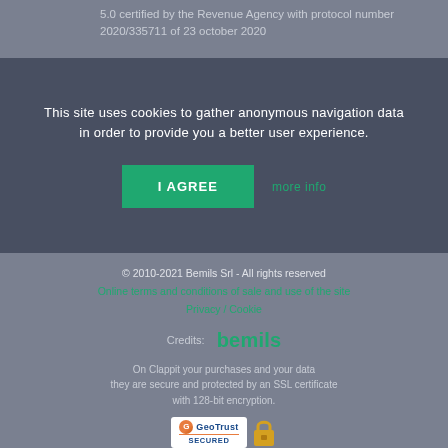5.0 certified by the Revenue Agency with protocol number 2020/335711 of 23 october 2020
This site uses cookies to gather anonymous navigation data in order to provide you a better user experience.
I AGREE
more info
© 2010-2021 Bemils Srl - All rights reserved
Online terms and conditions of sale and use of the site
Privacy / Cookie
Credits: bemils
On Clappit your purchases and your data they are secure and protected by an SSL certificate with 128-bit encryption.
[Figure (logo): GeoTrust SECURED badge with padlock icon]